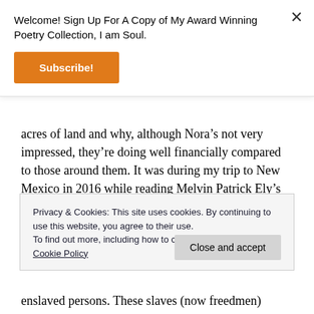Welcome! Sign Up For A Copy of My Award Winning Poetry Collection, I am Soul.
Subscribe!
acres of land and why, although Nora’s not very impressed, they’re doing well financially compared to those around them. It was during my trip to New Mexico in 2016 while reading Melvin Patrick Ely’s book Israel on The Appomattox, winner of THE BANCROFT PRIZE, A New York Times Book Review,
Privacy & Cookies: This site uses cookies. By continuing to use this website, you agree to their use.
To find out more, including how to control cookies, see here: Cookie Policy
Close and accept
enslaved persons. These slaves (now freedmen)